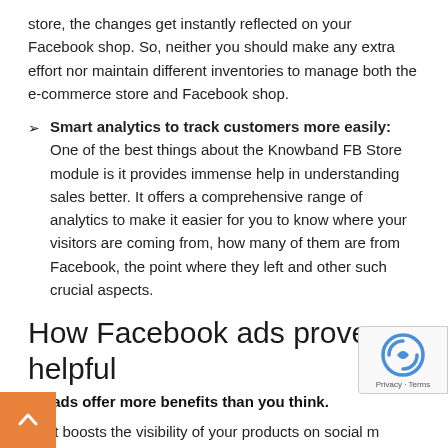store, the changes get instantly reflected on your Facebook shop. So, neither you should make any extra effort nor maintain different inventories to manage both the e-commerce store and Facebook shop.
Smart analytics to track customers more easily: One of the best things about the Knowband FB Store module is it provides immense help in understanding sales better. It offers a comprehensive range of analytics to make it easier for you to know where your visitors are coming from, how many of them are from Facebook, the point where they left and other such crucial aspects.
How Facebook ads prove helpful
FB ads offer more benefits than you think.
It boosts the visibility of your products on social m...
Allows you to choose your target audience base... factors like age, gender, interest, and everything that